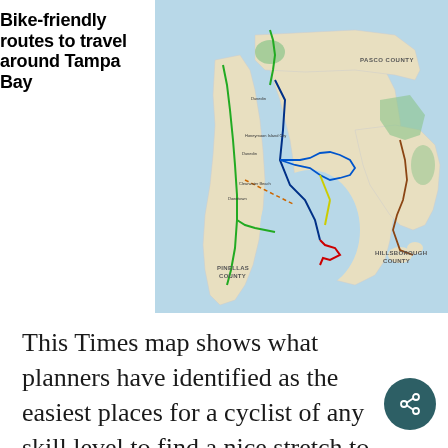[Figure (map): A bike-friendly routes map of the Tampa Bay area showing Pinellas County, Hillsborough County, and Pasco County. The map includes colored route lines for Upper Bay Path, Greenways Tampa Route, Clearwater Connections, Wilderness Preserve Route, Planned Bike Path, Bike route shared with vehicles, and Major road. Notable locations labeled include Pasco County, Pinellas County, Hillsborough County, Tampa Bay, and various parks and landmarks.]
This Times map shows what planners have identified as the easiest places for a cyclist of any skill level to find a nice stretch to